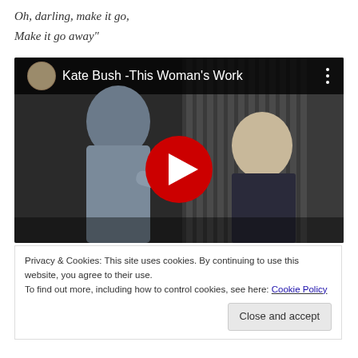Oh, darling, make it go,
Make it go away"
[Figure (screenshot): YouTube video embed screenshot showing Kate Bush - This Woman's Work music video thumbnail with two people, a woman leaning toward a seated man, with a red YouTube play button overlay and video title bar at top.]
Privacy & Cookies: This site uses cookies. By continuing to use this website, you agree to their use.
To find out more, including how to control cookies, see here: Cookie Policy
Close and accept